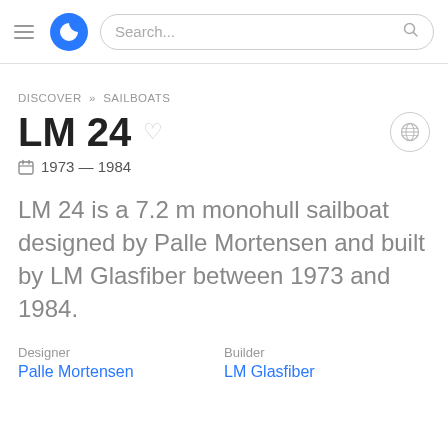≡  [logo]  Search...
DISCOVER » SAILBOATS
LM 24
1973 — 1984
LM 24 is a 7.2 m monohull sailboat designed by Palle Mortensen and built by LM Glasfiber between 1973 and 1984.
Designer
Palle Mortensen
Builder
LM Glasfiber